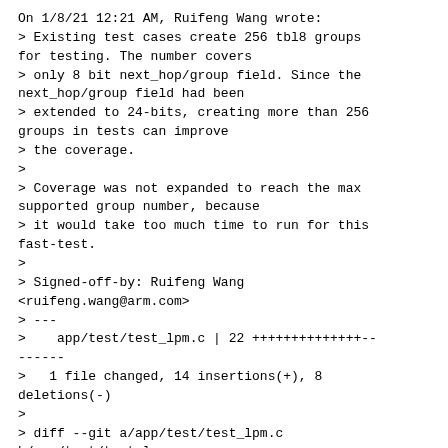On 1/8/21 12:21 AM, Ruifeng Wang wrote:
> Existing test cases create 256 tbl8 groups
for testing. The number covers
> only 8 bit next_hop/group field. Since the
next_hop/group field had been
> extended to 24-bits, creating more than 256
groups in tests can improve
> the coverage.
>
> Coverage was not expanded to reach the max
supported group number, because
> it would take too much time to run for this
fast-test.
>
> Signed-off-by: Ruifeng Wang
<ruifeng.wang@arm.com>
> ---
>    app/test/test_lpm.c | 22 ++++++++++++++--
------
>   1 file changed, 14 insertions(+), 8
deletions(-)
>
> diff --git a/app/test/test_lpm.c
b/app/test/test_lpm.c
> index 258b2f67c..ee6c4280b 100644
> --- a/app/test/test_lpm.c
> +++ b/app/test/test_lpm.c
> @@ -993,7 +993,7 @@ test13(void)
>    }